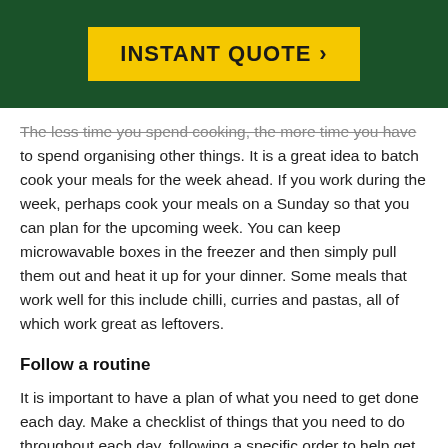[Figure (other): Dark green header bar with yellow 'INSTANT QUOTE >' button in the center]
The less time you spend cooking, the more time you have to spend organising other things. It is a great idea to batch cook your meals for the week ahead. If you work during the week, perhaps cook your meals on a Sunday so that you can plan for the upcoming week. You can keep microwavable boxes in the freezer and then simply pull them out and heat it up for your dinner. Some meals that work well for this include chilli, curries and pastas, all of which work great as leftovers.
Follow a routine
It is important to have a plan of what you need to get done each day. Make a checklist of things that you need to do throughout each day, following a specific order to help get you into a routine. Sticking to this plan every day will help